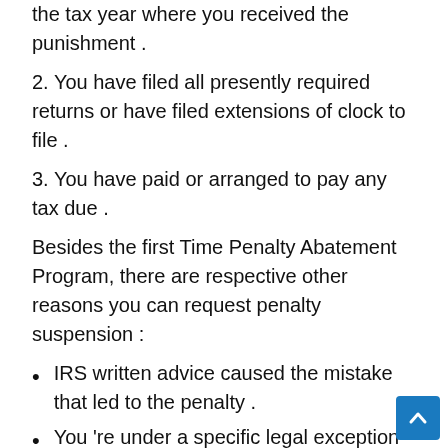the tax year where you received the punishment .
2. You have filed all presently required returns or have filed extensions of clock to file .
3. You have paid or arranged to pay any tax due .
Besides the first Time Penalty Abatement Program, there are respective other reasons you can request penalty suspension :
IRS written advice caused the mistake that led to the penalty .
You 're under a specific legal exception from the penalty. Disaster relief may qualify you for such an exception .
The IRS settles with you because they 're at r...